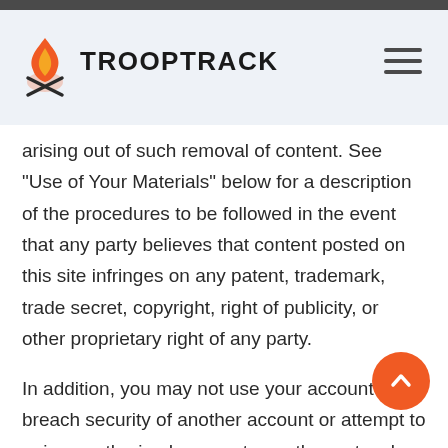TROOPTRACK
arising out of such removal of content. See "Use of Your Materials" below for a description of the procedures to be followed in the event that any party believes that content posted on this site infringes on any patent, trademark, trade secret, copyright, right of publicity, or other proprietary right of any party.
In addition, you may not use your account to breach security of another account or attempt to gain unauthorized access to another network or server. Not all areas of the site may be available to you or other authorized users of the site. You shall not interfere with